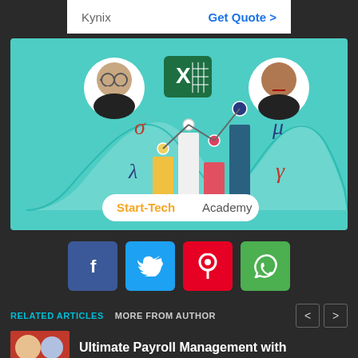Kynix  Get Quote >
[Figure (illustration): Start-Tech Academy course illustration with teal background, two circular instructor portraits, Excel logo, statistical symbols (sigma, lambda, mu, gamma), bell curves, bar chart, and line graph.]
[Figure (infographic): Social share buttons: Facebook (f), Twitter bird, Pinterest (p), WhatsApp phone icon]
RELATED ARTICLES  MORE FROM AUTHOR  < >
Ultimate Payroll Management with